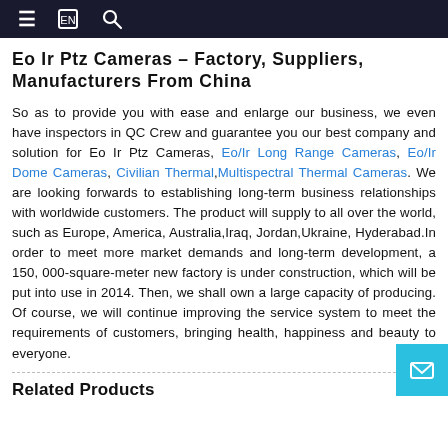≡  [icon]  🔍
Eo Ir Ptz Cameras – Factory, Suppliers, Manufacturers From China
So as to provide you with ease and enlarge our business, we even have inspectors in QC Crew and guarantee you our best company and solution for Eo Ir Ptz Cameras, Eo/Ir Long Range Cameras, Eo/Ir Dome Cameras, Civilian Thermal,Multispectral Thermal Cameras. We are looking forwards to establishing long-term business relationships with worldwide customers. The product will supply to all over the world, such as Europe, America, Australia,Iraq, Jordan,Ukraine, Hyderabad.In order to meet more market demands and long-term development, a 150, 000-square-meter new factory is under construction, which will be put into use in 2014. Then, we shall own a large capacity of producing. Of course, we will continue improving the service system to meet the requirements of customers, bringing health, happiness and beauty to everyone.
Related Products